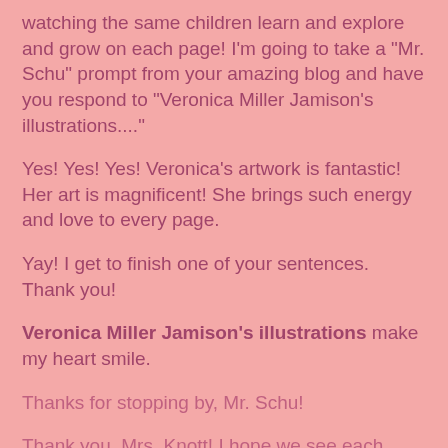watching the same children learn and explore and grow on each page!  I'm going to take a "Mr. Schu" prompt from your amazing blog and have you respond to "Veronica Miller Jamison's illustrations...."
Yes! Yes! Yes! Veronica's artwork is fantastic! Her art is magnificent! She brings such energy and love to every page.
Yay! I get to finish one of your sentences. Thank you!
Veronica Miller Jamison's illustrations make my heart smile.
Thanks for stopping by, Mr. Schu!
Thank you, Mrs. Knott! I hope we see each other one day soon!
Have you see the book trailer yet?  Be sure to share